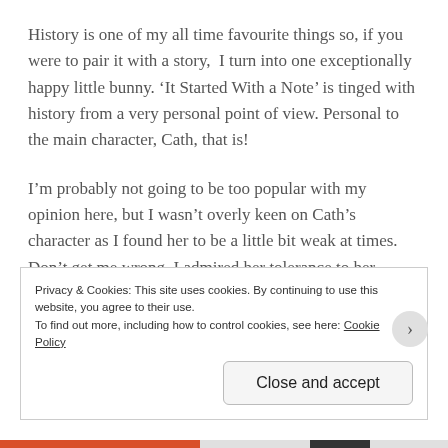History is one of my all time favourite things so, if you were to pair it with a story, I turn into one exceptionally happy little bunny. ‘It Started With a Note’ is tinged with history from a very personal point of view. Personal to the main character, Cath, that is!
I’m probably not going to be too popular with my opinion here, but I wasn’t overly keen on Cath’s character as I found her to be a little bit weak at times. Don’t get me wrong, I admired her tolerance to her situation, but I couldn’t quite grasp why she point-blank refused to air her grievances out loud towards her brother, instead of
Privacy & Cookies: This site uses cookies. By continuing to use this website, you agree to their use.
To find out more, including how to control cookies, see here: Cookie Policy
Close and accept